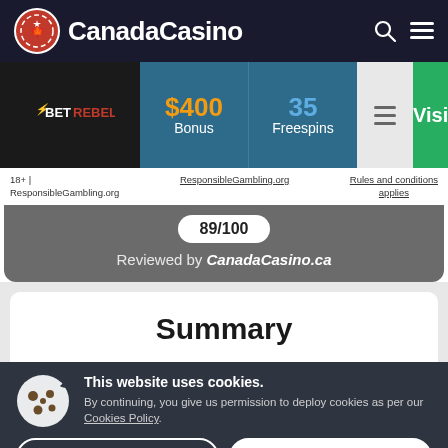CanadaCasino
[Figure (logo): BetRebels casino logo on black background]
$400 Bonus
35 Freespins
Visit
18+ | ResponsibleGambling.org   ResponsibleGambling.org   Rules and conditions applies
89/100
Reviewed by CanadaCasino.ca
Summary
This website uses cookies. By continuing, you give us permission to deploy cookies as per our Cookies Policy.
Close and Decline
Close and Accept